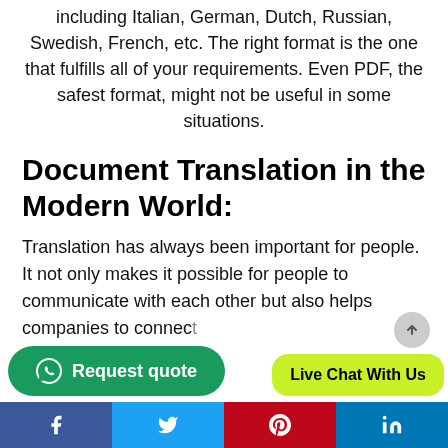including Italian, German, Dutch, Russian, Swedish, French, etc. The right format is the one that fulfills all of your requirements. Even PDF, the safest format, might not be useful in some situations.
Document Translation in the Modern World:
Translation has always been important for people. It not only makes it possible for people to communicate with each other but also helps companies to connect...
Facebook | Twitter | Pinterest | LinkedIn